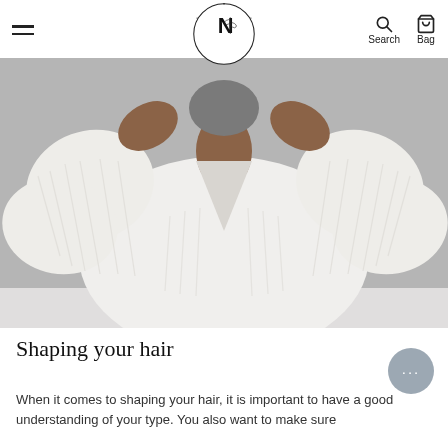NATUR.ALL — Search, Bag
[Figure (photo): A person wearing a white ribbed knit sweater, hands raised near their face/neck, photographed against a light grey background. Hair is natural/curly. Shot is cropped below chin and above waist.]
Shaping your hair
When it comes to shaping your hair, it is important to have a good understanding of your type. You also want to make sure...